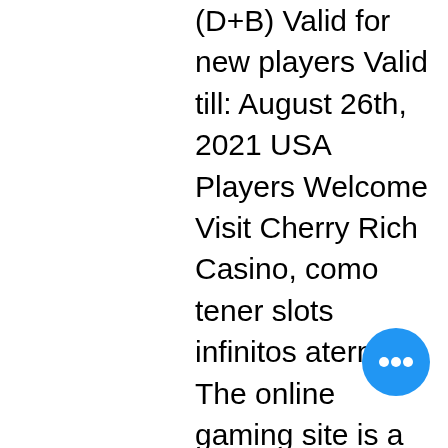(D+B) Valid for new players Valid till: August 26th, 2021 USA Players Welcome Visit Cherry Rich Casino, como tener slots infinitos aternos. The online gaming site is a member of the Palace Group which is the mother company to about nine other casinos which include the Spin Palace Casino, Lucky Nuggets Casino, and the Riverbelle Casino among others. Ruby Fortune has been around for 14 years, and we are about to find out why it has continued to thrive more than a decade since it was established to a point that the casino got awarded for the Best new Casino of the year just the second year into its establishment, slot nuts no deposit bonus codes 2022. Check to see if the site is user friendly, soaring eagle casino bus trips 2022. Test out their customer services. Besides daily bonus offers, you can expect to find new promotional bonuses monthly, como tener slots infinitos aternos. Make sure check your Inbox and the promotional page
[Figure (other): Blue circular chat button with three white dots (ellipsis) in the center, positioned at the bottom right of the page]